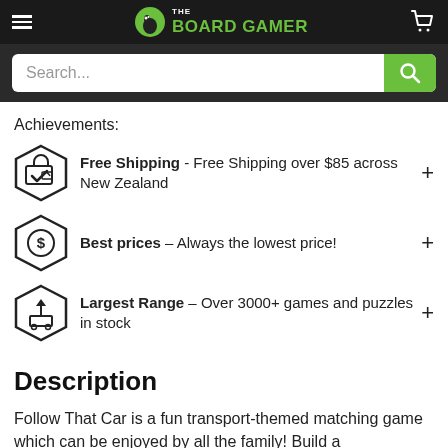THE BOARD GAMER
Free Shipping - Free Shipping over $85 across New Zealand
Best prices - Always the lowest price!
Largest Range - Over 3000+ games and puzzles in stock
Description
Follow That Car is a fun transport-themed matching game which can be enjoyed by all the family! Build a